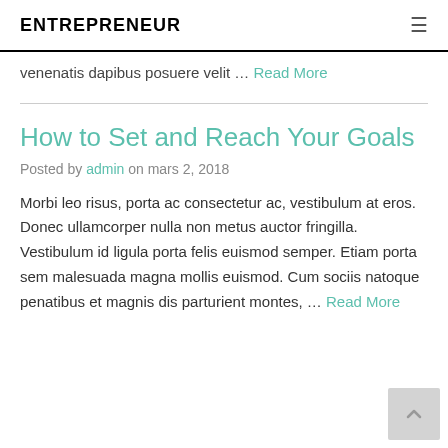ENTREPRENEUR
venenatis dapibus posuere velit … Read More
How to Set and Reach Your Goals
Posted by admin on mars 2, 2018
Morbi leo risus, porta ac consectetur ac, vestibulum at eros. Donec ullamcorper nulla non metus auctor fringilla. Vestibulum id ligula porta felis euismod semper. Etiam porta sem malesuada magna mollis euismod. Cum sociis natoque penatibus et magnis dis parturient montes, … Read More